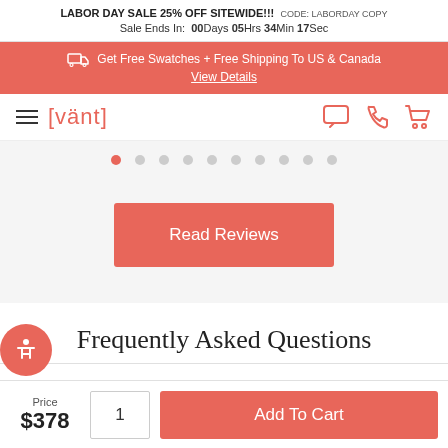LABOR DAY SALE 25% OFF SITEWIDE!!! CODE: LABORDAY COPY
Sale Ends In: 00Days 05Hrs 34Min 17Sec
Get Free Swatches + Free Shipping To US & Canada
View Details
[Figure (logo): Vant brand logo and navigation bar with hamburger menu, brand name [vänt], chat icon, phone icon, and cart icon]
[Figure (infographic): Carousel pagination dots — 10 dots, first one active (red), rest grey]
Read Reviews
Frequently Asked Questions
Price
$378
1
Add To Cart